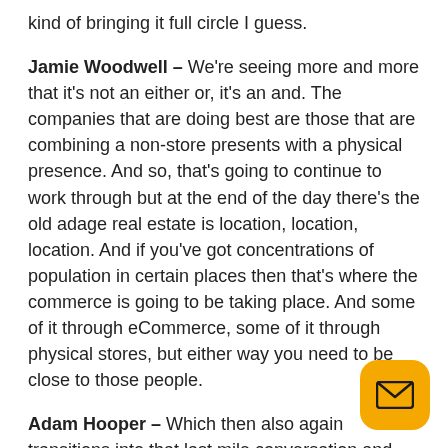kind of bringing it full circle I guess.
Jamie Woodwell – We're seeing more and more that it's not an either or, it's an and. The companies that are doing best are those that are combining a non-store presents with a physical presence. And so, that's going to continue to work through but at the end of the day there's the old adage real estate is location, location, location. And if you've got concentrations of population in certain places then that's where the commerce is going to be taking place. And some of it through eCommerce, some of it through physical stores, but either way you need to be close to those people.
Adam Hooper – Which then also again transitions into that last mile conversation and what's going on in industrial space. Do you foresee any change in industrial demand for industrial here going forward?
[Figure (illustration): Yellow rounded square button with an email/envelope icon]